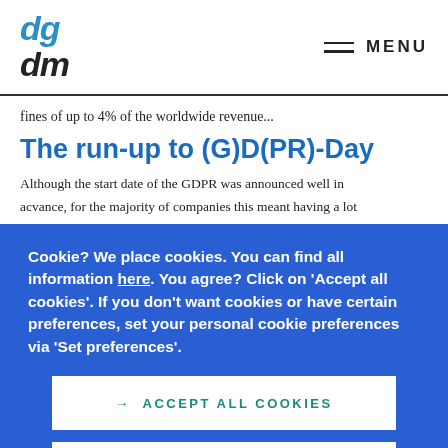dgdm | MENU
fines of up to 4% of the worldwide revenue...
The run-up to (G)D(PR)-Day
Although the start date of the GDPR was announced well in advance, for the majority of companies this meant having a lot of work still to do. Companies and organisations had 2 years to prepare and comply in time with the new regulation, however a lot of companies still had not completed certain organisational and technical measures by the deadline, p... su... ce... o... w...
Cookie? We place cookies. You can find all information here. You agree? Click on 'Accept all cookies'. If you don't want cookies or have certain preferences, set your personal cookie preferences via 'Set preferences'.
ACCEPT ALL COOKIES
SET PREFERENCES
The rather hesitant attitude of many companies panicked as